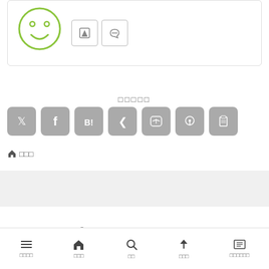[Figure (logo): Green smiley face logo outline with two small icon buttons (edit and RSS feed icons)]
□□□□□
[Figure (infographic): Row of 7 gray social share icon buttons: Twitter, Facebook, Hatena Bookmark, Pocket, LINE, Pinterest, Copy]
🏠□□□
© 2013-2022 □□□□□□□□□□□□□.
□□□□ □□□ □□ □□□ □□□□□□